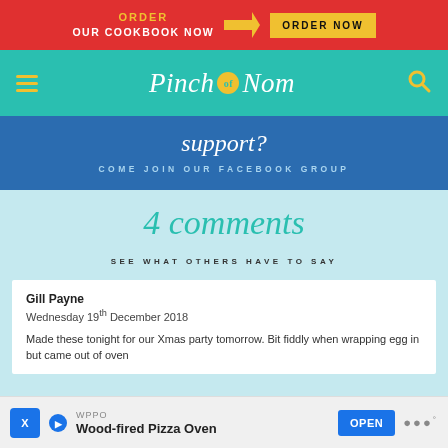ORDER OUR COOKBOOK NOW → ORDER NOW
[Figure (logo): Pinch of Nom logo with teal navigation bar, hamburger menu, and search icon]
support? COME JOIN OUR FACEBOOK GROUP
4 comments
SEE WHAT OTHERS HAVE TO SAY
Gill Payne
Wednesday 19th December 2018

Made these tonight for our Xmas party tomorrow. Bit fiddly when wrapping egg in but came out of oven
WPPO Wood-fired Pizza Oven OPEN